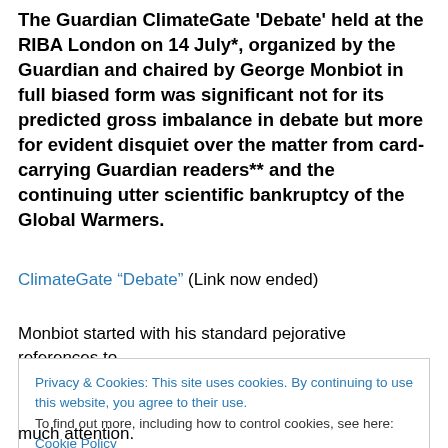The Guardian ClimateGate 'Debate' held at the RIBA London on 14 July*, organized by the Guardian and chaired by George Monbiot in full biased form was significant not for its predicted gross imbalance in debate but more for evident disquiet over the matter from card-carrying Guardian readers** and the continuing utter scientific bankruptcy of the Global Warmers.
ClimateGate "Debate" (Link now ended)
Monbiot started with his standard pejorative references to
Privacy & Cookies: This site uses cookies. By continuing to use this website, you agree to their use. To find out more, including how to control cookies, see here: Cookie Policy
Close and accept
much attention.